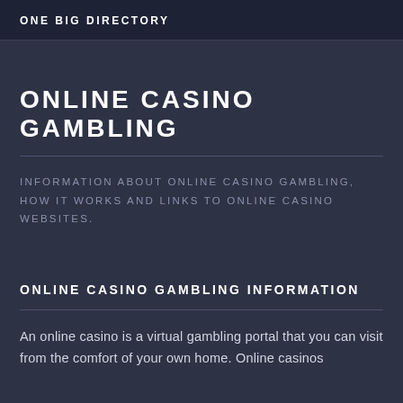ONE BIG DIRECTORY
ONLINE CASINO GAMBLING
INFORMATION ABOUT ONLINE CASINO GAMBLING, HOW IT WORKS AND LINKS TO ONLINE CASINO WEBSITES.
ONLINE CASINO GAMBLING INFORMATION
An online casino is a virtual gambling portal that you can visit from the comfort of your own home. Online casinos